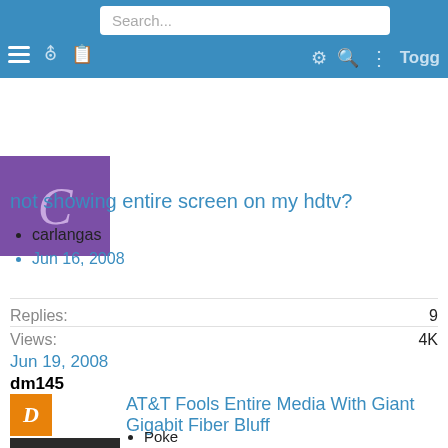[Figure (screenshot): Mobile forum navigation bar with hamburger menu, key icon, clipboard icon, search box, gear icon, search icon, vertical dots, and Togg text]
[Figure (screenshot): Purple avatar with letter C]
not showing entire screen on my hdtv?
carlangas
Jun 16, 2008
Replies: 9
Views: 4K
Jun 19, 2008
dm145
[Figure (screenshot): Orange avatar with letter D and thumbnail image of Audi car]
AT&T Fools Entire Media With Giant Gigabit Fiber Bluff
Poke
Dec 19, 2015